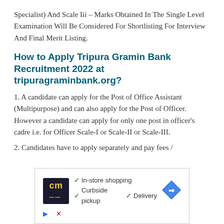Specialist) And Scale Iii – Marks Obtained In The Single Level Examination Will Be Considered For Shortlisting For Interview And Final Merit Listing.
How to Apply Tripura Gramin Bank Recruitment 2022 at tripuragraminbank.org?
1. A candidate can apply for the Post of Office Assistant (Multipurpose) and can also apply for the Post of Officer. However a candidate can apply for only one post in officer's cadre i.e. for Officer Scale-I or Scale-II or Scale-III.
2. Candidates have to apply separately and pay fees /
[Figure (other): Advertisement banner with cm logo, checkmarks for In-store shopping, Curbside pickup, Delivery, and a blue navigation arrow icon.]